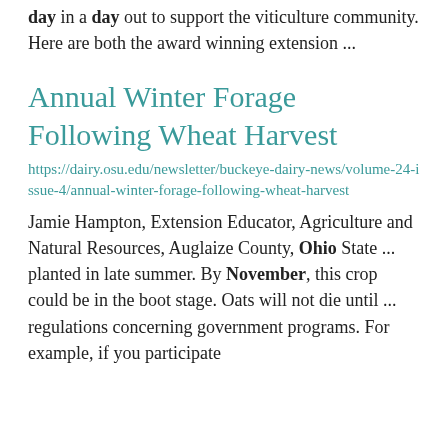day in a day out to support the viticulture community. Here are both the award winning extension ...
Annual Winter Forage Following Wheat Harvest
https://dairy.osu.edu/newsletter/buckeye-dairy-news/volume-24-issue-4/annual-winter-forage-following-wheat-harvest
Jamie Hampton, Extension Educator, Agriculture and Natural Resources, Auglaize County, Ohio State ... planted in late summer. By November, this crop could be in the boot stage. Oats will not die until ... regulations concerning government programs. For example, if you participate